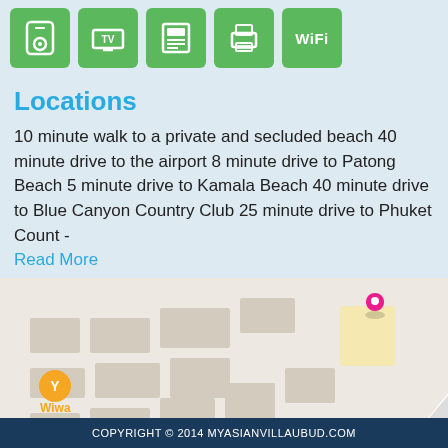[Figure (infographic): Row of 5 green icon boxes: music/iPod icon, TV icon, telephone/fax icon, printer icon, WiFi label]
Locations
10 minute walk to a private and secluded beach 40 minute drive to the airport 8 minute drive to Patong Beach 5 minute drive to Kamala Beach 40 minute drive to Blue Canyon Country Club 25 minute drive to Phuket Count -
Read More
[Figure (map): Street map showing Kamala Soi 16 Rd area with a pink location pin near top and a red location pin lower center, and an orange restaurant marker labeled Wiwa on the left, and a green marker labeled ch on the lower left]
COPYRIGHT © 2014 MYASIANVILLAUBUD.COM